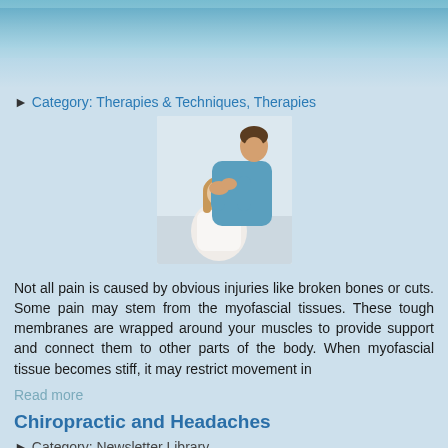Category: Therapies & Techniques, Therapies
[Figure (photo): A healthcare practitioner in blue scrubs performing a neck/head therapy on a seated female patient]
Not all pain is caused by obvious injuries like broken bones or cuts. Some pain may stem from the myofascial tissues. These tough membranes are wrapped around your muscles to provide support and connect them to other parts of the body. When myofascial tissue becomes stiff, it may restrict movement in
Read more
Chiropractic and Headaches
Category: Newsletter Library
[Figure (photo): A person holding their head with both hands, suggesting a headache]